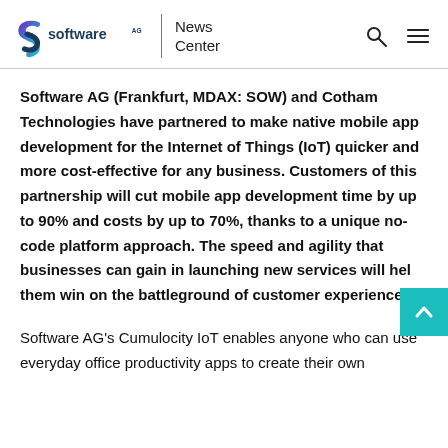Software AG | News Center
Software AG (Frankfurt, MDAX: SOW) and Cotham Technologies have partnered to make native mobile app development for the Internet of Things (IoT) quicker and more cost-effective for any business. Customers of this partnership will cut mobile app development time by up to 90% and costs by up to 70%, thanks to a unique no-code platform approach. The speed and agility that businesses can gain in launching new services will help them win on the battleground of customer experience.
Software AG's Cumulocity IoT enables anyone who can use everyday office productivity apps to create their own